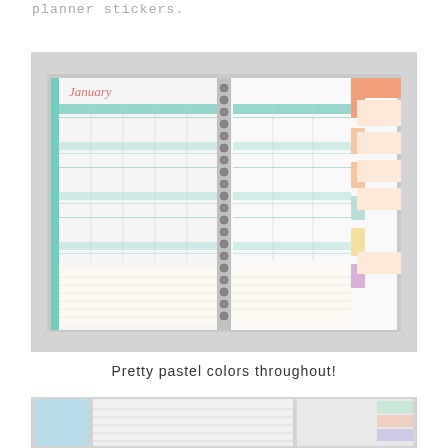planner stickers.
[Figure (photo): Open spiral-bound planner showing a monthly calendar spread with pastel colors (teal, peach, pink, yellow), the month 'January' written in script, multiple weekly grid sections, and colorful tabbed dividers on the right side.]
Pretty pastel colors throughout!
[Figure (photo): Partial view of planner pages showing light blue and white sections with lined pages and tabbed dividers.]